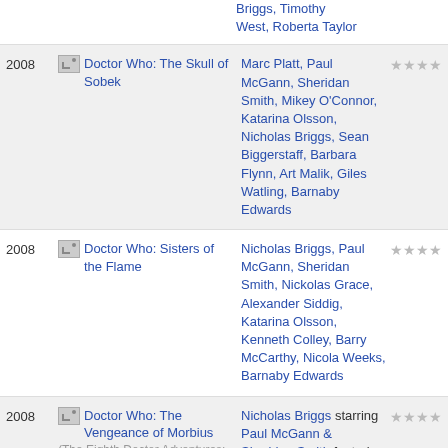Briggs, Timothy West, Roberta Taylor
2008 | Doctor Who: The Skull of Sobek | Marc Platt, Paul McGann, Sheridan Smith, Mikey O'Connor, Katarina Olsson, Nicholas Briggs, Sean Biggerstaff, Barbara Flynn, Art Malik, Giles Watling, Barnaby Edwards
2008 | Doctor Who: Sisters of the Flame | Nicholas Briggs, Paul McGann, Sheridan Smith, Nickolas Grace, Alexander Siddig, Katarina Olsson, Kenneth Colley, Barry McCarthy, Nicola Weeks, Barnaby Edwards
2008 | Doctor Who: The Vengeance of Morbius (The Eighth Doctor Adventures: 2.8) | Nicholas Briggs starring Paul McGann & Sheridan Smith featuring Alexander Siddig, Kenneth Colley, Nickolas Grace and Samuel West
Terrance Dicks, Colin...